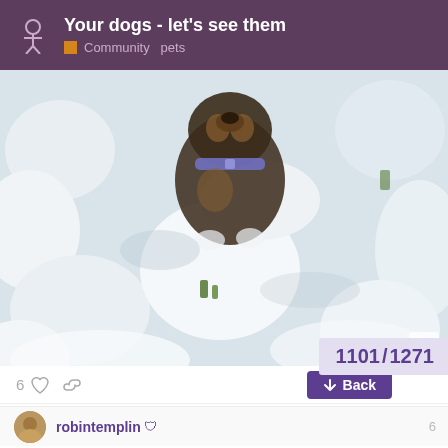Your dogs - let's see them
Community  pets
[Figure (photo): A dog photographed from above, wearing a purple/blue collar, lying or standing in chunky snow with patches of grass visible. The image is taken from a top-down perspective showing the snowy scene around the dog.]
6
Back
1101 / 1271
robintemplin
6